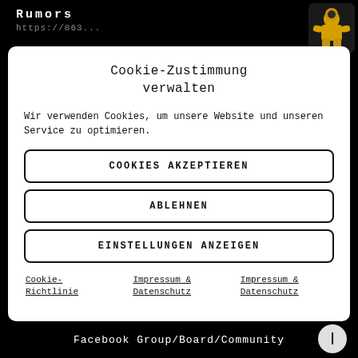Rumors
https://863...
Cookie-Zustimmung verwalten
Wir verwenden Cookies, um unsere Website und unseren Service zu optimieren.
COOKIES AKZEPTIEREN
ABLEHNEN
EINSTELLUNGEN ANZEIGEN
Cookie-Richtlinie   Impressum & Datenschutz   Impressum & Datenschutz
Facebook Group/Board/Community